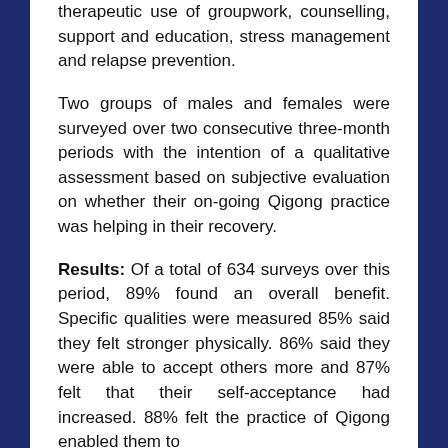therapeutic use of groupwork, counselling, support and education, stress management and relapse prevention.
Two groups of males and females were surveyed over two consecutive three-month periods with the intention of a qualitative assessment based on subjective evaluation on whether their on-going Qigong practice was helping in their recovery.
Results: Of a total of 634 surveys over this period, 89% found an overall benefit. Specific qualities were measured 85% said they felt stronger physically. 86% said they were able to accept others more and 87% felt that their self-acceptance had increased. 88% felt the practice of Qigong enabled them to